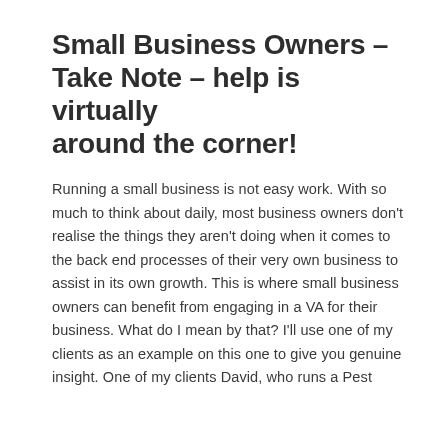Small Business Owners – Take Note – help is virtually around the corner!
Running a small business is not easy work. With so much to think about daily, most business owners don't realise the things they aren't doing when it comes to the back end processes of their very own business to assist in its own growth. This is where small business owners can benefit from engaging in a VA for their business. What do I mean by that? I'll use one of my clients as an example on this one to give you genuine insight. One of my clients David, who runs a Pest